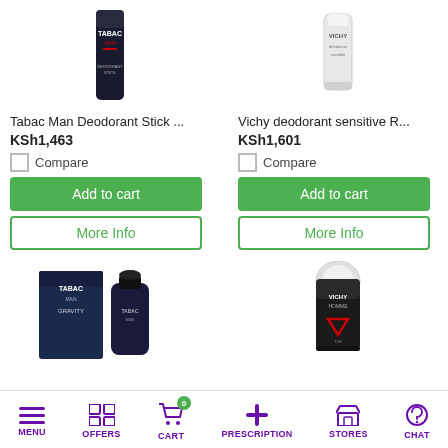[Figure (photo): Tabac Man Deodorant Stick product image - dark cylindrical stick]
Tabac Man Deodorant Stick ...
KSh1,463
Compare
Add to cart
More Info
[Figure (photo): Vichy deodorant sensitive R... product image - white tube]
Vichy deodorant sensitive R...
KSh1,601
Compare
Add to cart
More Info
[Figure (photo): Tabac Man Gravity cologne/fragrance - dark blue box and bottle set]
[Figure (photo): Vichy Homme roll-on deodorant product image]
MENU   OFFERS   CART 0   PRESCRIPTION   STORES   CHAT